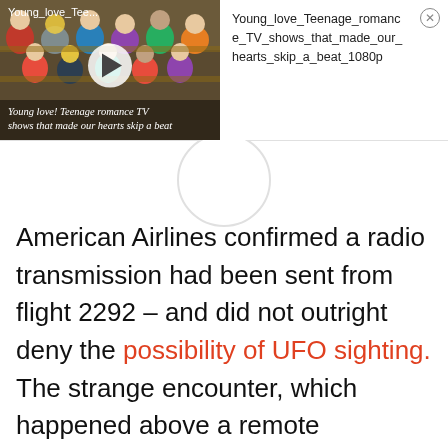[Figure (screenshot): Video thumbnail of 'Young love! Teenage romance TV shows that made our hearts skip a beat' showing group of teenagers in bleachers with a play button overlay and italic caption text. Next to it is a tooltip/popup showing the full filename: Young_love_Teenage_romance_TV_shows_that_made_our_hearts_skip_a_beat_1080p with a close button.]
American Airlines confirmed a radio transmission had been sent from flight 2292 – and did not outright deny the possibility of UFO sighting. The strange encounter, which happened above a remote northeast corner of New Mexico, west of Des Moines, involved AA Flight 2292.